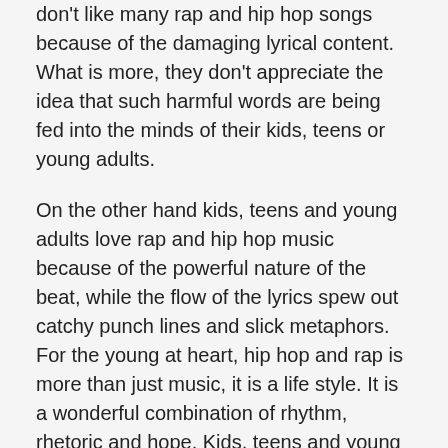don't like many rap and hip hop songs because of the damaging lyrical content. What is more, they don't appreciate the idea that such harmful words are being fed into the minds of their kids, teens or young adults.
On the other hand kids, teens and young adults love rap and hip hop music because of the powerful nature of the beat, while the flow of the lyrics spew out catchy punch lines and slick metaphors. For the young at heart, hip hop and rap is more than just music, it is a life style. It is a wonderful combination of rhythm, rhetoric and hope. Kids, teens and young adults all over the world bop their heads emotionally to the rhythmic sounds of hip hop. They become awe inspired by the rhetorical flow of rap and hope to one day capture the financial success of the artists viewed in the videos.
Although some of the lyrics in rap and hip hop music are derogatory in nature, all of it is not belittling. Several hip